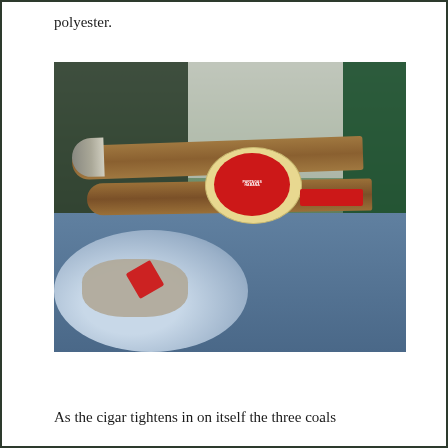polyester.
[Figure (photo): Two Partagas cigars resting on a glass ashtray with ash and a red cigar band, photographed outdoors on a blue table with a dark gate and building in the background.]
As the cigar tightens in on itself the three coals